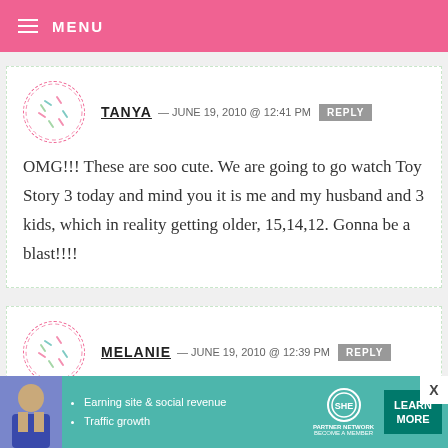MENU
TANYA — JUNE 19, 2010 @ 12:41 PM REPLY
OMG!!! These are soo cute. We are going to go watch Toy Story 3 today and mind you it is me and my husband and 3 kids, which in reality getting older, 15,14,12. Gonna be a blast!!!!
MELANIE — JUNE 19, 2010 @ 12:39 PM REPLY
I can't wait to see the movie and these
[Figure (advertisement): SHE Partner Network ad banner with bullet points: Earning site & social revenue, Traffic growth. LEARN MORE button.]